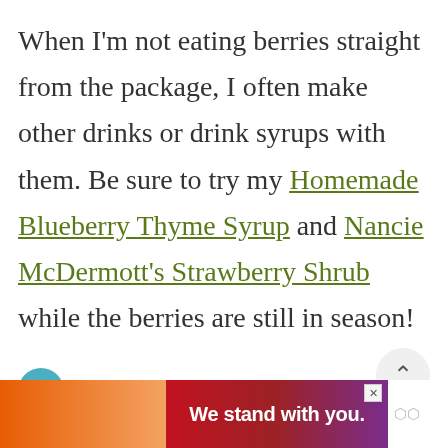When I'm not eating berries straight from the package, I often make other drinks or drink syrups with them. Be sure to try my Homemade Blueberry Thyme Syrup and Nancie McDermott's Strawberry Shrub while the berries are still in season!
[Figure (screenshot): Website UI elements: heart/favorite button (teal circle), share button (white circle), chevron-up button (light gray circle), search button (dark green circle)]
[Figure (infographic): What's Next banner showing Homemade Blueberry... with a circular food photo]
[Figure (screenshot): Advertisement banner: orange-to-red gradient with text 'We stand with you.' and a close X button and a logo]